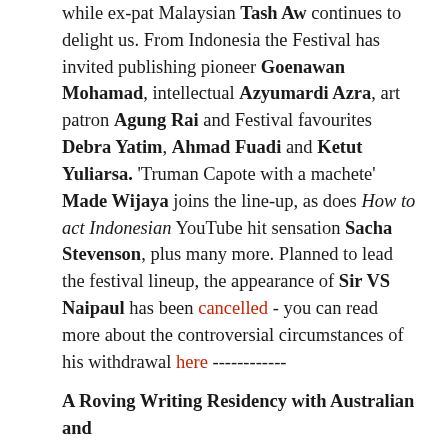while ex-pat Malaysian Tash Aw continues to delight us. From Indonesia the Festival has invited publishing pioneer Goenawan Mohamad, intellectual Azyumardi Azra, art patron Agung Rai and Festival favourites Debra Yatim, Ahmad Fuadi and Ketut Yuliarsa. 'Truman Capote with a machete' Made Wijaya joins the line-up, as does How to act Indonesian YouTube hit sensation Sacha Stevenson, plus many more. Planned to lead the festival lineup, the appearance of Sir VS Naipaul has been cancelled - you can read more about the controversial circumstances of his withdrawal here ------------
A Roving Writing Residency with Australian and